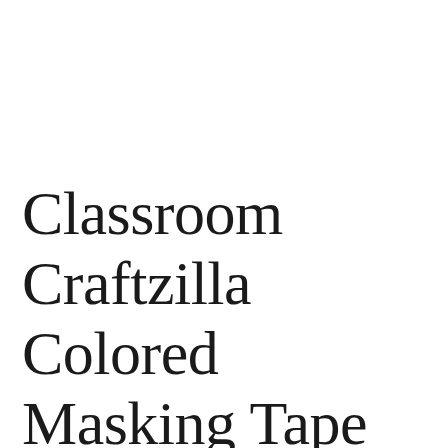Classroom Craftzilla Colored Masking Tape for Home Colorful Craft Tape for Kids Teachers & Painters 10 Rolls of 20